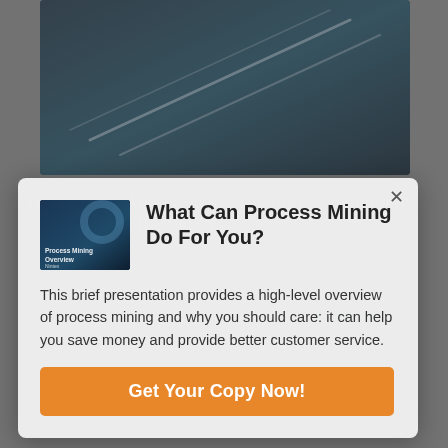[Figure (screenshot): Background webpage screenshot showing a dark aerial photo at top, and partially visible article text about process mining and roundtable, overlaid by a modal popup]
What Can Process Mining Do For You?
This brief presentation provides a high-level overview of process mining and why you should care: it can help you save money and provide better customer service.
Get Your Copy Now!